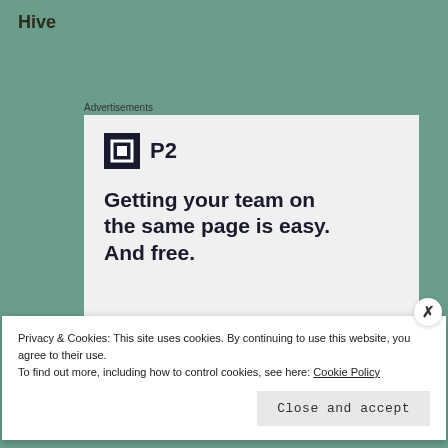Hive
Advertisements
[Figure (screenshot): P2 advertisement showing logo, headline 'Getting your team on the same page is easy. And free.' with three profile photos and a blue plus button]
Privacy & Cookies: This site uses cookies. By continuing to use this website, you agree to their use.
To find out more, including how to control cookies, see here: Cookie Policy
Close and accept